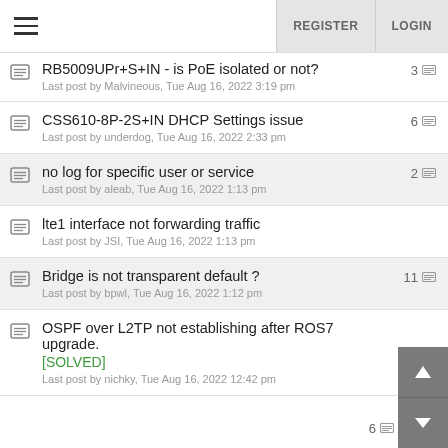REGISTER  LOGIN
RB5009UPr+S+IN - is PoE isolated or not?
Last post by Malvineous, Tue Aug 16, 2022 3:19 pm
3
CSS610-8P-2S+IN DHCP Settings issue
Last post by underdog, Tue Aug 16, 2022 2:33 pm
6
no log for specific user or service
Last post by aleab, Tue Aug 16, 2022 1:13 pm
2
lte1 interface not forwarding traffic
Last post by JSI, Tue Aug 16, 2022 1:13 pm
Bridge is not transparent default ?
Last post by bpwl, Tue Aug 16, 2022 1:12 pm
11
OSPF over L2TP not establishing after ROS7 upgrade. [SOLVED]
Last post by nichky, Tue Aug 16, 2022 12:42 pm
6